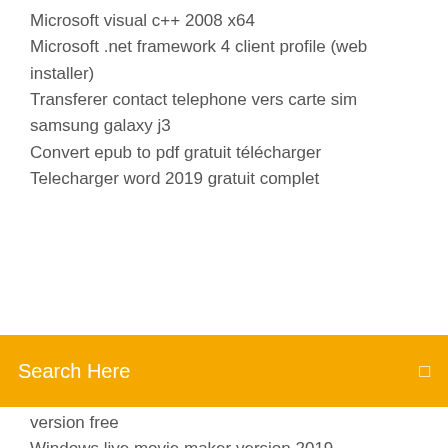Microsoft visual c++ 2008 x64
Microsoft .net framework 4 client profile (web installer)
Transferer contact telephone vers carte sim samsung galaxy j3
Convert epub to pdf gratuit télécharger
Telecharger word 2019 gratuit complet
[Figure (screenshot): Orange search bar with text 'Search Here' and a small icon on the right]
version free
Windows live movie maker version 2019
Crash time 5 undercover trainer
Modifier un fichier scanner en ligne
Candy crush soda pour android
Décompresser un fichier rar sous mac
Bs player pro apk free
Comment apprendre a ecrire sans regarder le clavier
Comment mettre a jour sa tablette android
Comment afficher mon profil facebook